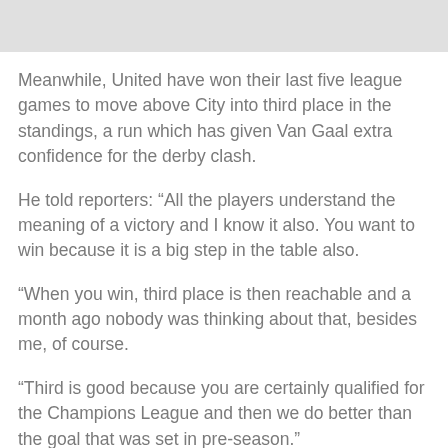[Figure (photo): Partial image placeholder at top of page]
Meanwhile, United have won their last five league games to move above City into third place in the standings, a run which has given Van Gaal extra confidence for the derby clash.
He told reporters: “All the players understand the meaning of a victory and I know it also. You want to win because it is a big step in the table also.
“When you win, third place is then reachable and a month ago nobody was thinking about that, besides me, of course.
“Third is good because you are certainly qualified for the Champions League and then we do better than the goal that was set in pre-season.”
Van Gaal has already confirmed that striker Robin van Persie will miss the game due to